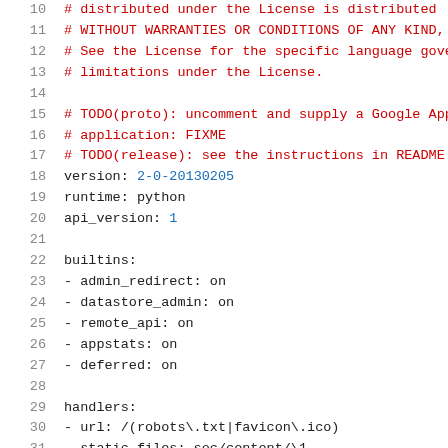10  # distributed under the License is distributed
11  # WITHOUT WARRANTIES OR CONDITIONS OF ANY KIND,
12  # See the License for the specific language gove
13  # limitations under the License.
14
15  # TODO(proto): uncomment and supply a Google App
16  # application: FIXME
17  # TODO(release): see the instructions in README
18  version: 2-0-20130205
19  runtime: python
20  api_version: 1
21
22  builtins:
23  - admin_redirect: on
24  - datastore_admin: on
25  - remote_api: on
26  - appstats: on
27  - deferred: on
28
29  handlers:
30  - url: /(robots\.txt|favicon\.ico)
31    static_files: soc/content/\1